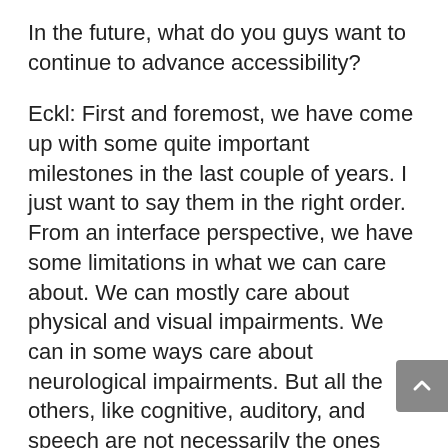In the future, what do you guys want to continue to advance accessibility?
Eckl: First and foremost, we have come up with some quite important milestones in the last couple of years. I just want to say them in the right order. From an interface perspective, we have some limitations in what we can care about. We can mostly care about physical and visual impairments. We can in some ways care about neurological impairments. But all the others, like cognitive, auditory, and speech are not necessarily the ones that are within easy reach for us now. But I don't want to say not completely. It's just from a technical limitations point of view. As a nonprofit organization, from